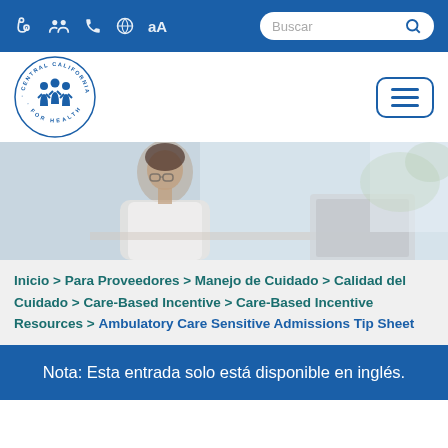Navigation bar with icons and search: Buscar
[Figure (logo): Central California Alliance for Health circular logo with three figures]
[Figure (photo): Hero image of a healthcare professional (woman in white coat) working at a laptop]
Inicio > Para Proveedores > Manejo de Cuidado > Calidad del Cuidado > Care-Based Incentive > Care-Based Incentive Resources > Ambulatory Care Sensitive Admissions Tip Sheet
Nota: Esta entrada solo está disponible en inglés.